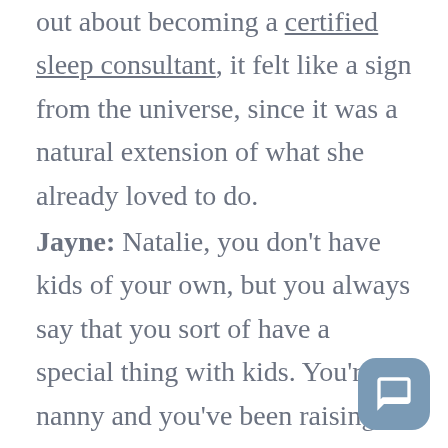out about becoming a certified sleep consultant, it felt like a sign from the universe, since it was a natural extension of what she already loved to do.
Jayne: Natalie, you don't have kids of your own, but you always say that you sort of have a special thing with kids. You're a nanny and you've been raising kids your whole professional